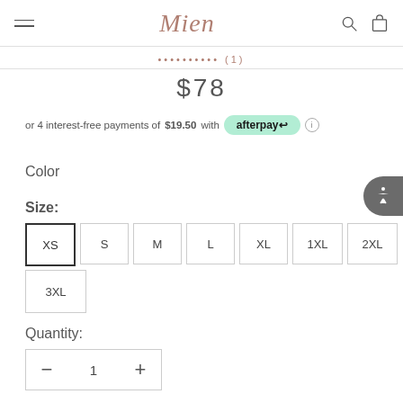Mien
•••••••••• (1)
$78
or 4 interest-free payments of $19.50 with afterpay
Color
Size:
XS
S
M
L
XL
1XL
2XL
3XL
Quantity:
1